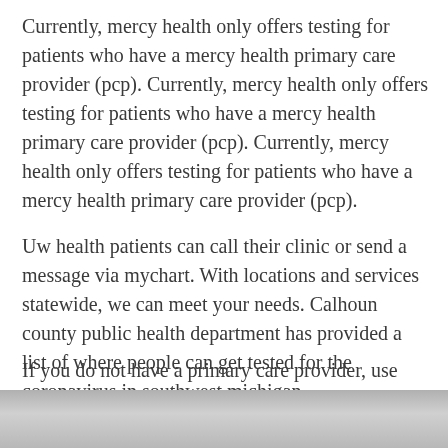Currently, mercy health only offers testing for patients who have a mercy health primary care provider (pcp). Currently, mercy health only offers testing for patients who have a mercy health primary care provider (pcp). Currently, mercy health only offers testing for patients who have a mercy health primary care provider (pcp).
Uw health patients can call their clinic or send a message via mychart. With locations and services statewide, we can meet your needs. Calhoun county public health department has provided a list of where people can get tested for the coronavirus in southwest michigan.
If you do not have a primary care provider, use find a doctor to find one.
[Figure (photo): Partial photo strip at bottom of page showing an outdoor scene, partially visible]